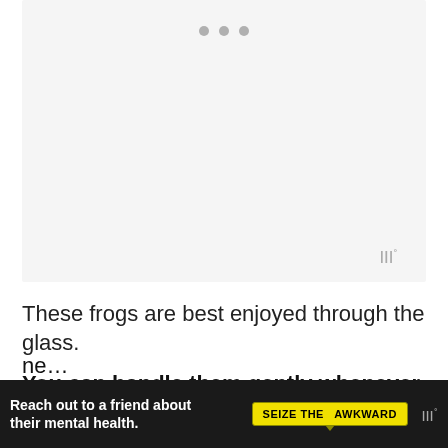[Figure (photo): A large light gray placeholder image area with three gray dots at the top center (carousel/slideshow indicators) and a small watermark logo in the bottom right corner.]
These frogs are best enjoyed through the glass.
You can handle them gently whenever
ne... ances to ti... the
[Figure (infographic): Advertisement banner: dark background. Text reads 'Reach out to a friend about their mental health.' with a yellow badge reading 'SEIZE THE AWKWARD' and a small watermark logo.]